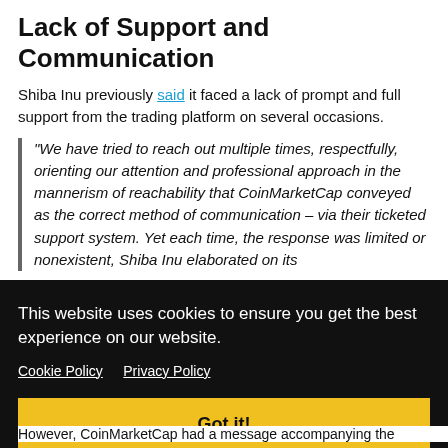Lack of Support and Communication
Shiba Inu previously said it faced a lack of prompt and full support from the trading platform on several occasions.
“We have tried to reach out multiple times, respectfully, orienting our attention and professional approach in the mannerism of reachability that CoinMarketCap conveyed as the correct method of communication – via their ticketed support system. Yet each time, the response was limited or nonexistent,” Shiba Inu elaborated on its
icate
llingly
However, CoinMarketCap had a message accompanying the